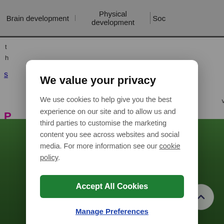Brain development | Physical development | Soc
t h
s
v
P
[Figure (photo): Child playing on a green outdoor play structure on grass, photographed from above]
We value your privacy
We use cookies to help give you the best experience on our site and to allow us and third parties to customise the marketing content you see across websites and social media. For more information see our cookie policy.
Accept All Cookies
Manage Preferences